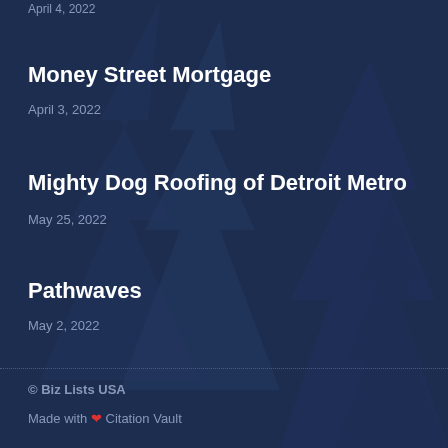April 4, 2022
Money Street Mortgage
April 3, 2022
Mighty Dog Roofing of Detroit Metro
May 25, 2022
Pathwaves
May 2, 2022
© Biz Lists USA
Made with ♥ Citation Vault